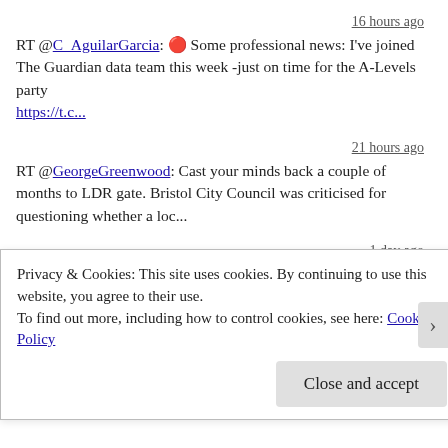16 hours ago
RT @C_AguilarGarcia: 🔴 Some professional news: I've joined The Guardian data team this week -just on time for the A-Levels party https://t.c...
21 hours ago
RT @GeorgeGreenwood: Cast your minds back a couple of months to LDR gate. Bristol City Council was criticised for questioning whether a loc...
1 day ago
Follow @paulbradshaw
TWEETS ABOUT OUR POSTS
Privacy & Cookies: This site uses cookies. By continuing to use this website, you agree to their use.
To find out more, including how to control cookies, see here: Cookie Policy
Close and accept